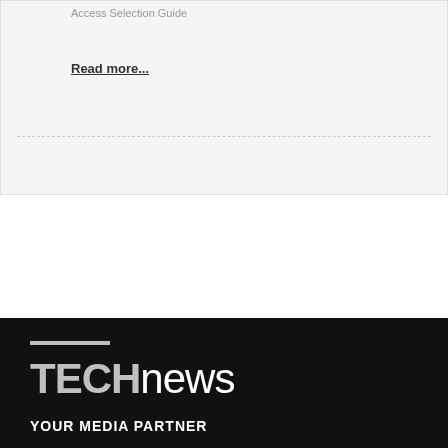Access Selection Guide
Read more...
[Figure (logo): HSBD Hi-Tech Security Business Directory banner with gold header, text: Find companies, products and services]
[Figure (logo): TECHnews logo in black footer with text YOUR MEDIA PARTNER]